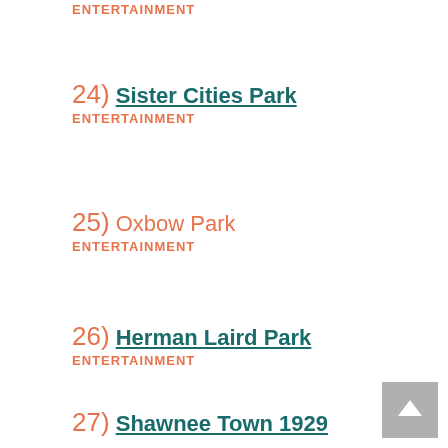ENTERTAINMENT
24) Sister Cities Park
ENTERTAINMENT
25) Oxbow Park
ENTERTAINMENT
26) Herman Laird Park
ENTERTAINMENT
27) Shawnee Town 1929
ENTERTAINMENT